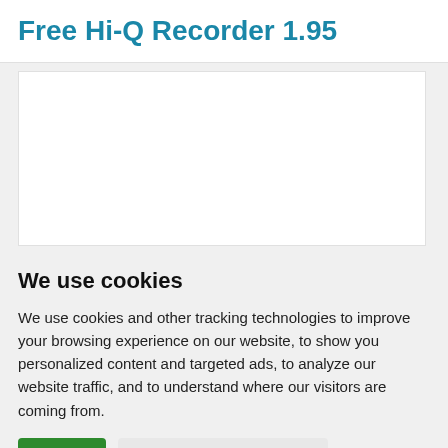Free Hi-Q Recorder 1.95
[Figure (other): White rectangular image placeholder area]
We use cookies
We use cookies and other tracking technologies to improve your browsing experience on our website, to show you personalized content and targeted ads, to analyze our website traffic, and to understand where our visitors are coming from.
I agree   Change my preferences